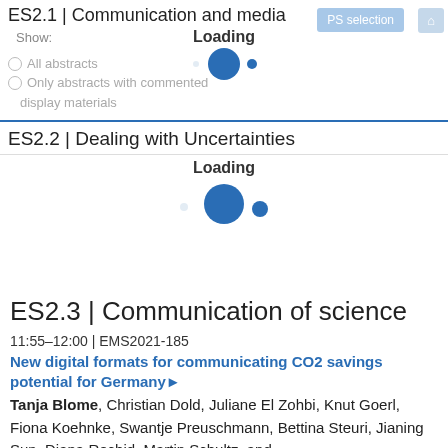ES2.1 | Communication and media
Show:
All abstracts
Only abstracts with commented
display materials
[Figure (other): Loading spinner animation with text 'Loading' and animated blue circles]
ES2.2 | Dealing with Uncertainties
[Figure (other): Loading spinner animation with text 'Loading' and animated blue circles of varying sizes]
ES2.3 | Communication of science
11:55–12:00 | EMS2021-185
New digital formats for communicating CO2 savings potential for Germany
Tanja Blome, Christian Dold, Juliane El Zohbi, Knut Goerl, Fiona Koehnke, Swantje Preuschmann, Bettina Steuri, Jianing Sun, Diana Rechid, Martin Schultz, and